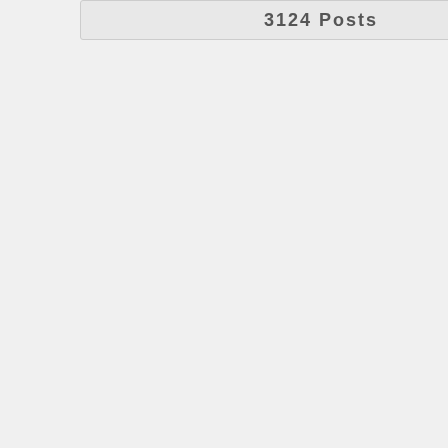3124 Posts
Started by Chris
Please welcom our newest m... Started by Chris
Hello Fellow F... Started by Chris
How did you f... Started by cosw... »
I've changed m... Started by Crazy